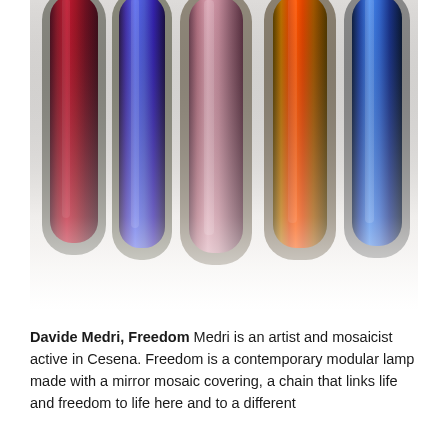[Figure (photo): Five vertical elongated glass tube shapes arranged side by side against a light grey background. From left to right: dark crimson/maroon, iridescent blue-purple, pinkish-mauve, orange-red with golden border, and bright cobalt blue. Each tube is rounded at the bottom and displays a glossy reflective surface suggesting glass or mosaic material. The tubes fade into a white-grey gradient at the bottom.]
Davide Medri, Freedom Medri is an artist and mosaicist active in Cesena. Freedom is a contemporary modular lamp made with a mirror mosaic covering, a chain that links life and freedom to life here and to a different...